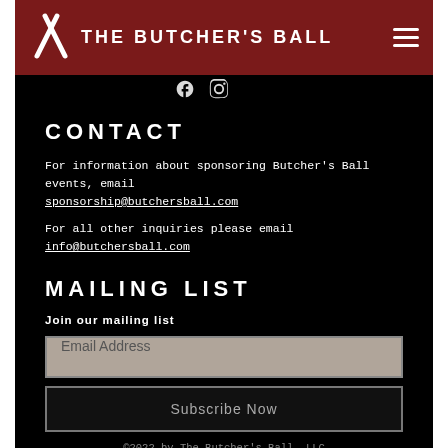THE BUTCHER'S BALL
CONTACT
For information about sponsoring Butcher's Ball events, email sponsorship@butchersball.com
For all other inquiries please email info@butchersball.com
MAILING LIST
Join our mailing list
Email Address
Subscribe Now
©2022 by The Butcher's Ball, LLC